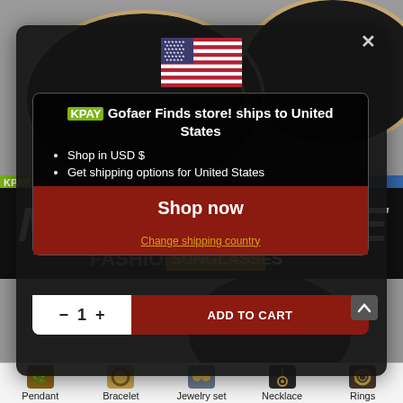[Figure (screenshot): Screenshot of an e-commerce product page for fashion sunglasses with a shipping country selection popup overlay. The background shows black square sunglasses with gold frames. A modal dialog shows a US flag, text 'Gofaer Finds store! ships to United States', options to shop in USD and get shipping options, a dark red 'Shop now' button, 'Change shipping country' link, and an 'ADD TO CART' bar. Bottom navigation shows Pendant, Bracelet, Jewelry set, Necklace, Rings categories.]
Gofaer Finds store! ships to United States
Shop in USD $
Get shipping options for United States
Shop now
ADD TO CART
Change shipping country
Pendant
Bracelet
Jewelry set
Necklace
Rings